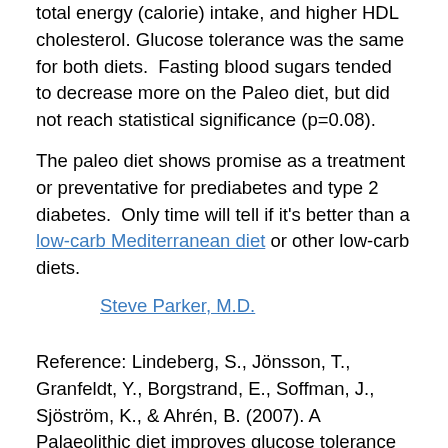total energy (calorie) intake, and higher HDL cholesterol. Glucose tolerance was the same for both diets. Fasting blood sugars tended to decrease more on the Paleo diet, but did not reach statistical significance (p=0.08).
The paleo diet shows promise as a treatment or preventative for prediabetes and type 2 diabetes. Only time will tell if it's better than a low-carb Mediterranean diet or other low-carb diets.
Steve Parker, M.D.
Reference: Lindeberg, S., Jönsson, T., Granfeldt, Y., Borgstrand, E., Soffman, J., Sjöström, K., & Ahrén, B. (2007). A Palaeolithic diet improves glucose tolerance more than a Mediterranean-like diet in individuals with ischaemic heart disease Diabetologia, 50 (9), 1795-1807 DOI: 10.1007/s00125-007-0716-y